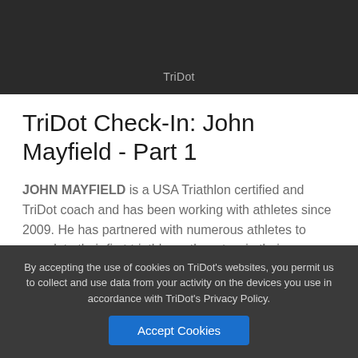TriDot
TriDot Check-In: John Mayfield - Part 1
JOHN MAYFIELD is a USA Triathlon certified and TriDot coach and has been working with athletes since 2009. He has partnered with numerous athletes to complete their first triathlon, others to win their age group, and others to become Ironman finishers. As a husband and father of three, he understands training, racing, and coaching must be balanced between family and other life
By accepting the use of cookies on TriDot's websites, you permit us to collect and use data from your activity on the devices you use in accordance with TriDot's Privacy Policy.
Accept Cookies